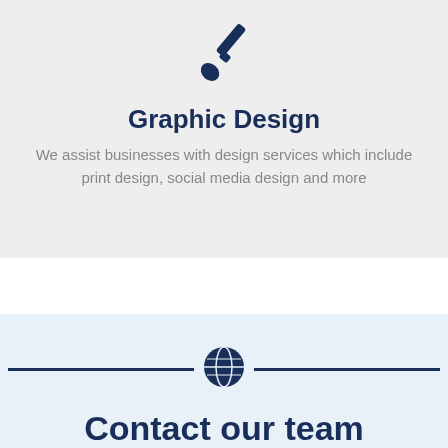[Figure (illustration): Paint brush icon in dark navy color, pointing diagonally upper-right]
Graphic Design
We assist businesses with design services which include print design, social media design and more
[Figure (illustration): Globe/earth icon in dark navy color, centered between two horizontal divider lines]
Contact our team